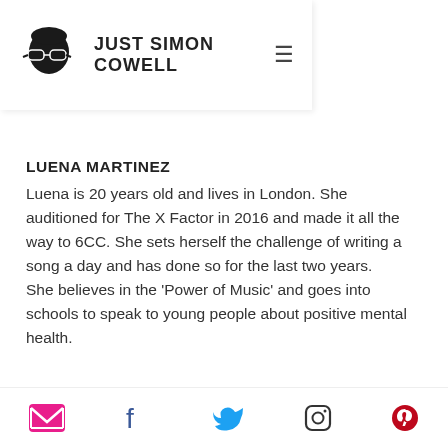JUST SIMON COWELL
LUENA MARTINEZ
Luena is 20 years old and lives in London. She auditioned for The X Factor in 2016 and made it all the way to 6CC. She sets herself the challenge of writing a song a day and has done so for the last two years.
She believes in the 'Power of Music' and goes into schools to speak to young people about positive mental health.
[Figure (photo): Photo of Luena Martinez, a young woman with long dark hair against a light grey background]
Social media icons: email, Facebook, Twitter, Instagram, Pinterest